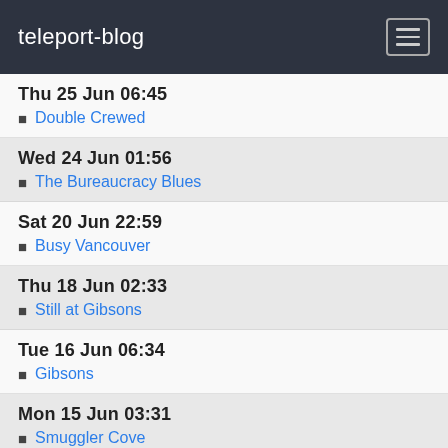teleport-blog
Thu 25 Jun 06:45
Double Crewed
Wed 24 Jun 01:56
The Bureaucracy Blues
Sat 20 Jun 22:59
Busy Vancouver
Thu 18 Jun 02:33
Still at Gibsons
Tue 16 Jun 06:34
Gibsons
Mon 15 Jun 03:31
Smuggler Cove
Sun 14 Jun 06:08
Scottie Bay
Sat 13 Jun 05:33